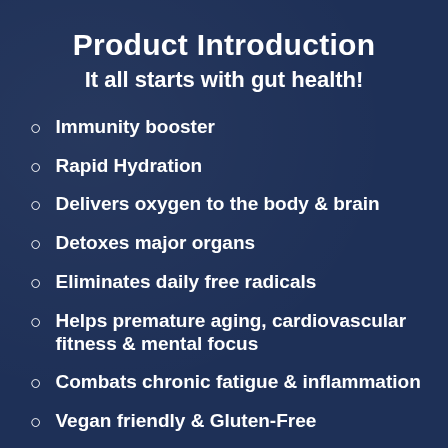Product Introduction
It all starts with gut health!
Immunity booster
Rapid Hydration
Delivers oxygen to the body & brain
Detoxes major organs
Eliminates daily free radicals
Helps premature aging, cardiovascular fitness & mental focus
Combats chronic fatigue & inflammation
Vegan friendly & Gluten-Free